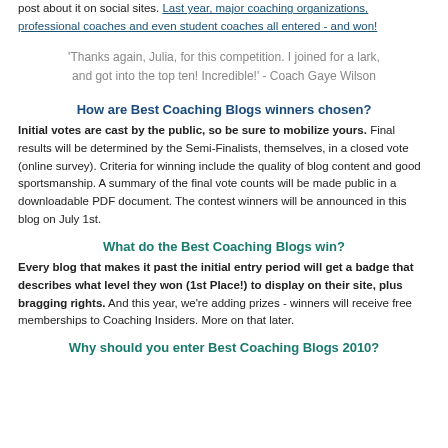post about it on social sites. Last year, major coaching organizations, professional coaches and even student coaches all entered - and won!
'Thanks again, Julia, for this competition. I joined for a lark, and got into the top ten! Incredible!' - Coach Gaye Wilson
How are Best Coaching Blogs winners chosen?
Initial votes are cast by the public, so be sure to mobilize yours. Final results will be determined by the Semi-Finalists, themselves, in a closed vote (online survey). Criteria for winning include the quality of blog content and good sportsmanship. A summary of the final vote counts will be made public in a downloadable PDF document. The contest winners will be announced in this blog on July 1st.
What do the Best Coaching Blogs win?
Every blog that makes it past the initial entry period will get a badge that describes what level they won (1st Place!) to display on their site, plus bragging rights. And this year, we're adding prizes - winners will receive free memberships to Coaching Insiders. More on that later.
Why should you enter Best Coaching Blogs 2010?